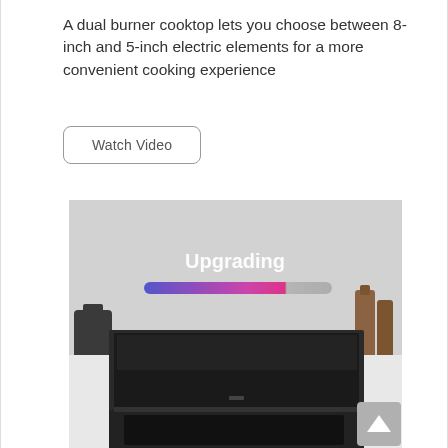A dual burner cooktop lets you choose between 8-inch and 5-inch electric elements for a more convenient cooking experience
[Figure (other): A button labeled 'Watch Video' with rounded rectangle border]
[Figure (photo): A photo of a black electric range/cooktop in a kitchen setting. The cooktop lid is closed, showing the top of the range. In the background is a gray wall with decorative bottles on either side. A colorful gradient progress bar overlaid on the image shows a blue-to-pink gradient with text 'Upgrading' above it. A gray scroll-up button appears in the bottom right corner.]